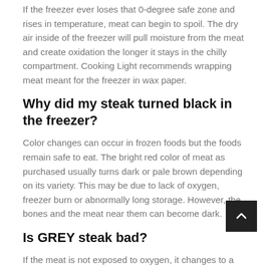If the freezer ever loses that 0-degree safe zone and rises in temperature, meat can begin to spoil. The dry air inside of the freezer will pull moisture from the meat and create oxidation the longer it stays in the chilly compartment. Cooking Light recommends wrapping meat meant for the freezer in wax paper.
Why did my steak turned black in the freezer?
Color changes can occur in frozen foods but the foods remain safe to eat. The bright red color of meat as purchased usually turns dark or pale brown depending on its variety. This may be due to lack of oxygen, freezer burn or abnormally long storage. However, the bones and the meat near them can become dark.
Is GREY steak bad?
If the meat is not exposed to oxygen, it changes to a gray-brown hue. Ground beef that has been frozen may also turn gray, but it is still safe to eat if stored properly.